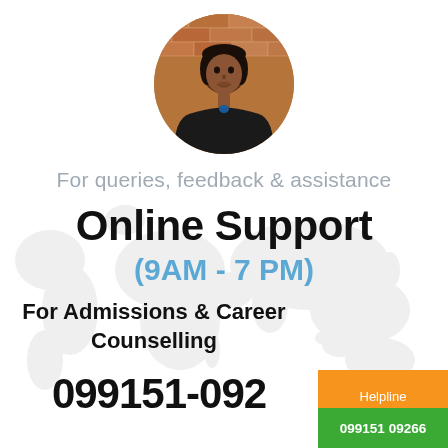[Figure (photo): Circular profile photo of a young woman in a black jacket against a brick wall background]
For queries, feedback & assistance
Online Support
(9AM - 7 PM)
For Admissions & Career Counselling
099151-092
Helpline
099151 09266